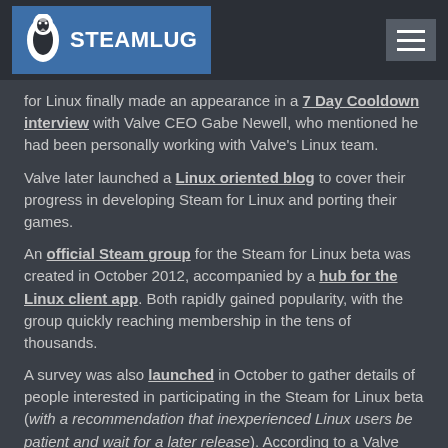SteamLUG
for Linux finally made an appearance in a 7 Day Cooldown interview with Valve CEO Gabe Newell, who mentioned he had been personally working with Valve's Linux team.
Valve later launched a Linux oriented blog to cover their progress in developing Steam for Linux and porting their games.
An official Steam group for the Steam for Linux beta was created in October 2012, accompanied by a hub for the Linux client app. Both rapidly gained popularity, with the group quickly reaching membership in the tens of thousands.
A survey was also launched in October to gather details of people interested in participating in the Steam for Linux beta (with a recommendation that inexperienced Linux users be patient and wait for a later release). According to a Valve press release, over 60,000 people responded within the first week.
In November 2012, the closed Steam for Linux beta launched with 25 playable titles, expanding over the following weeks to allow further participants, until the open public beta release late in December.
At the same time that the Steam for Linux...